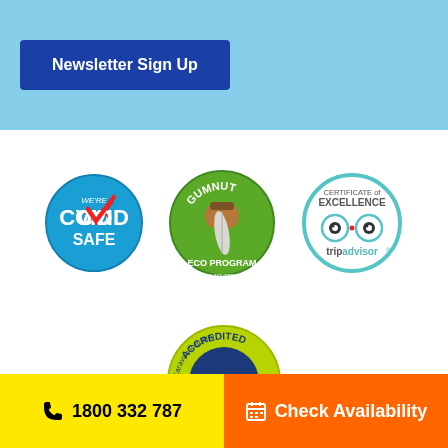Newsletter Sign Up
[Figure (logo): We're COVID Safe badge - blue circle with COVID SAFE text and red/white checkmark]
[Figure (logo): Gumnut Eco Program badge - green circular badge with gumnut illustration, caravan and camping industry association NSW]
[Figure (logo): TripAdvisor Certificate of Excellence badge - teal circle with owl eyes logo and tripadvisor text]
[Figure (logo): CIAA Accredited Caravan/Holiday Park badge - yellow-green circle with blue center and boomerang logo]
1800 332 787
Check Availability